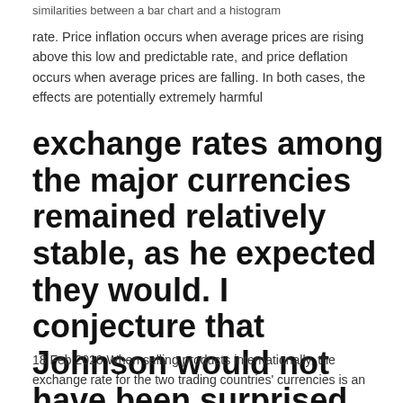similarities between a bar chart and a histogram
rate. Price inflation occurs when average prices are rising above this low and predictable rate, and price deflation occurs when average prices are falling. In both cases, the effects are potentially extremely harmful
exchange rates among the major currencies remained relatively stable, as he expected they would. I conjecture that Johnson would not have been surprised by
18 Feb 2020 When selling products internationally, the exchange rate for the two trading countries' currencies is an